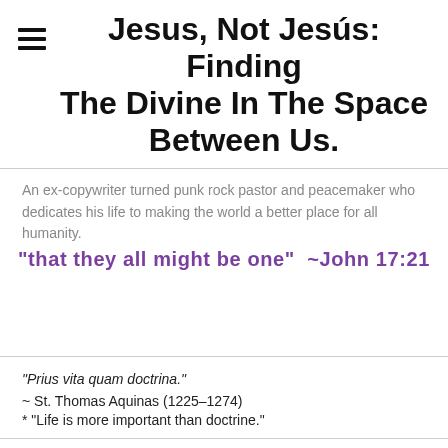Jesus, Not Jesús: Finding The Divine In The Space Between Us.
An ex-copywriter turned punk rock pastor and peacemaker who dedicates his life to making the world a better place for all humanity.
"that they all might be one"  ~John 17:21
"Prius vita quam doctrina."
~ St. Thomas Aquinas (1225–1274)
* "Life is more important than doctrine."